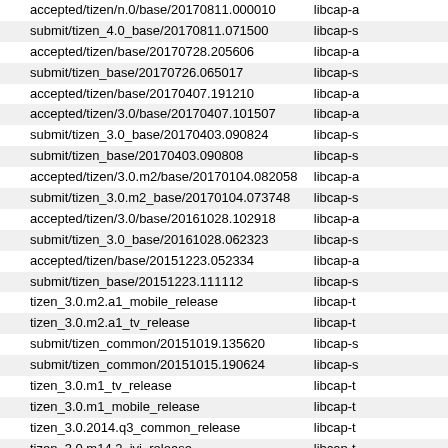| branch/tag | package |
| --- | --- |
| accepted/tizen/n.0/base/20170811.000010 | libcap-a |
| submit/tizen_4.0_base/20170811.071500 | libcap-s |
| accepted/tizen/base/20170728.205606 | libcap-a |
| submit/tizen_base/20170726.065017 | libcap-s |
| accepted/tizen/base/20170407.191210 | libcap-a |
| accepted/tizen/3.0/base/20170407.101507 | libcap-a |
| submit/tizen_3.0_base/20170403.090824 | libcap-s |
| submit/tizen_base/20170403.090808 | libcap-s |
| accepted/tizen/3.0.m2/base/20170104.082058 | libcap-a |
| submit/tizen_3.0.m2_base/20170104.073748 | libcap-s |
| accepted/tizen/3.0/base/20161028.102918 | libcap-a |
| submit/tizen_3.0_base/20161028.062323 | libcap-s |
| accepted/tizen/base/20151223.052334 | libcap-a |
| submit/tizen_base/20151223.111112 | libcap-s |
| tizen_3.0.m2.a1_mobile_release | libcap-t |
| tizen_3.0.m2.a1_tv_release | libcap-t |
| submit/tizen_common/20151019.135620 | libcap-s |
| submit/tizen_common/20151015.190624 | libcap-s |
| tizen_3.0.m1_tv_release | libcap-t |
| tizen_3.0.m1_mobile_release | libcap-t |
| tizen_3.0.2014.q3_common_release | libcap-t |
| tizen_3.0.m14.2_ivi_release | libcap-t |
| tizen_3.0.m14.3_ivi_release | libcap-t |
| tizen_3.0_ivi_release | libcap-t |
| submit/tizen_mobile/20141120.000000 | libcap-s |
| accepted/tizen/3.0.2014.q3/common/20141021.091420 | libcap-a |